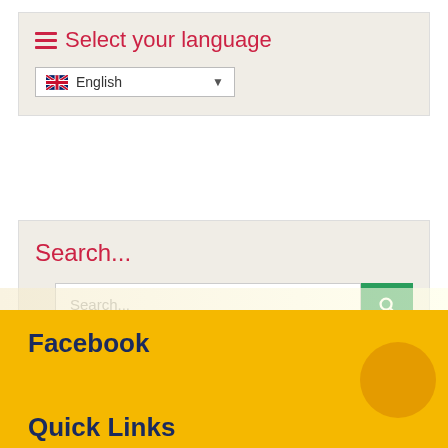Select your language
English (dropdown)
Search...
Search... (search input with button)
Facebook
Quick Links